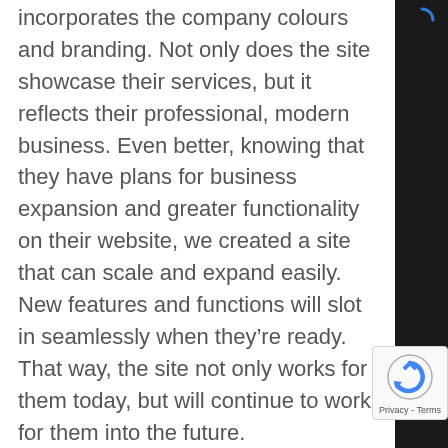incorporates the company colours and branding. Not only does the site showcase their services, but it reflects their professional, modern business. Even better, knowing that they have plans for business expansion and greater functionality on their website, we created a site that can scale and expand easily. New features and functions will slot in seamlessly when they're ready. That way, the site not only works for them today, but will continue to work for them into the future.

If you're in need of a group or corporate travel solution in Sydney, please visit Sydney Coach Travel. Check out their modern site while you're there. To quote from the site: